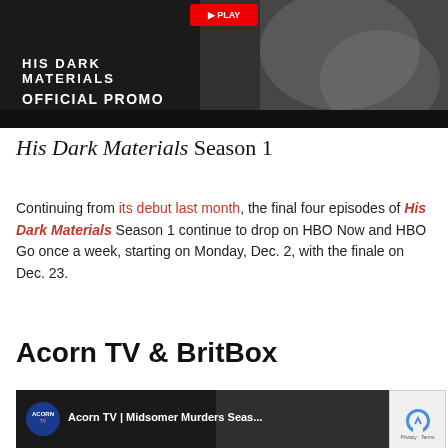[Figure (screenshot): His Dark Materials Official Promo video thumbnail with dark background showing animal/armor imagery and white overlay text reading 'HIS DARK MATERIALS' and 'OFFICIAL PROMO', with a red play button at top]
His Dark Materials Season 1
Continuing from its debut last month, the final four episodes of His Dark Materials Season 1 continue to drop on HBO Now and HBO Go once a week, starting on Monday, Dec. 2, with the finale on Dec. 23.
Acorn TV & BritBox
[Figure (screenshot): Acorn TV video thumbnail showing Acorn TV | Midsomer Murders Seas... with the Acorn TV circular logo on dark background]